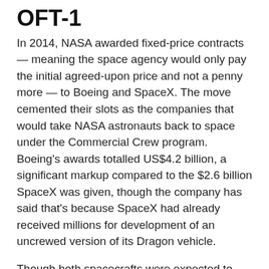OFT-1
In 2014, NASA awarded fixed-price contracts — meaning the space agency would only pay the initial agreed-upon price and not a penny more — to Boeing and SpaceX. The move cemented their slots as the companies that would take NASA astronauts back to space under the Commercial Crew program. Boeing's awards totalled US$4.2 billion, a significant markup compared to the $2.6 billion SpaceX was given, though the company has said that's because SpaceX had already received millions for development of an uncrewed version of its Dragon vehicle.
Though both spacecrafts were expected to blast astronauts into space just a few years later, as